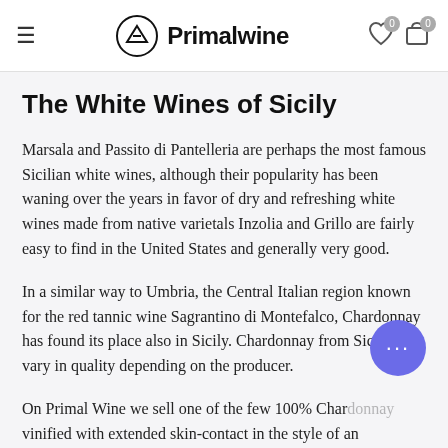Primalwine
The White Wines of Sicily
Marsala and Passito di Pantelleria are perhaps the most famous Sicilian white wines, although their popularity has been waning over the years in favor of dry and refreshing white wines made from native varietals Inzolia and Grillo are fairly easy to find in the United States and generally very good.
In a similar way to Umbria, the Central Italian region known for the red tannic wine Sagrantino di Montefalco, Chardonnay has found its place also in Sicily. Chardonnay from Sicily can vary in quality depending on the producer.
On Primal Wine we sell one of the few 100% Chardonnay vinified with extended skin-contact in the style of an